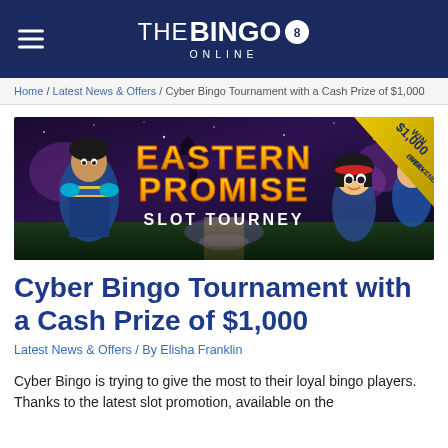THE BINGO ONLINE
Home / Latest News & Offers / Cyber Bingo Tournament with a Cash Prize of $1,000
[Figure (illustration): Eastern Promise Slot Tourney banner. Dark fantasy Eastern-themed casino promotional image with two characters — an armored warrior on the left and an animated girl on the right. Text reads 'EASTERN PROMISE SLOT TOURNEY' in large golden letters. A yellow corner banner reads 'WIN $1,000 EVERY WEEKEND!']
Cyber Bingo Tournament with a Cash Prize of $1,000
Latest News & Offers / By Elisha Franklin
Cyber Bingo is trying to give the most to their loyal bingo players. Thanks to the latest slot promotion, available on the